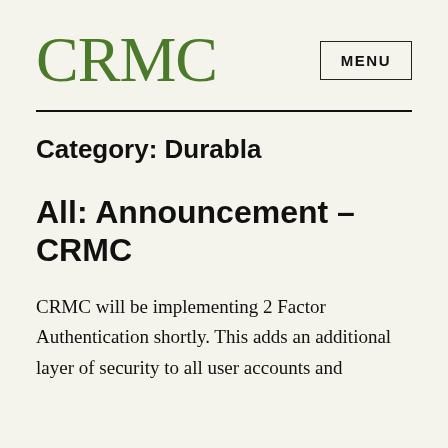CRMC
Category: Durabla
All: Announcement – CRMC
CRMC will be implementing 2 Factor Authentication shortly. This adds an additional layer of security to all user accounts and